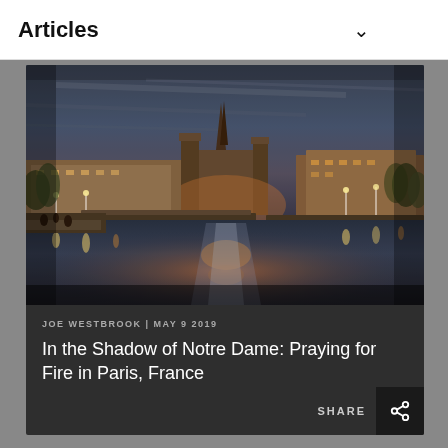Articles
[Figure (photo): Night-time HDR photo of Notre Dame Cathedral in Paris viewed from the Seine River, with warm city lights reflecting on the water, bridges visible, trees on both banks, dramatic blue-purple sky]
JOE WESTBROOK | MAY 9 2019
In the Shadow of Notre Dame: Praying for Fire in Paris, France
SHARE